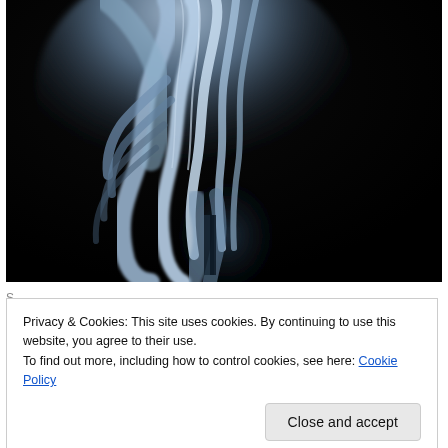[Figure (illustration): Dark artistic painting/illustration showing draped fabric or clothing in blue-white tones against a near-black background. The fabric appears to be hanging downward with folds and creases, suggesting a figure beneath. The image has a dramatic chiaroscuro lighting effect.]
Privacy & Cookies: This site uses cookies. By continuing to use this website, you agree to their use.
To find out more, including how to control cookies, see here: Cookie Policy
Close and accept